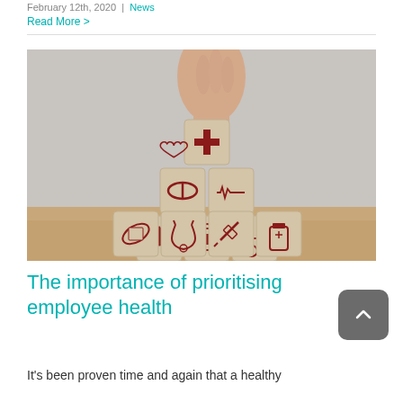February 12th, 2020 | News
Read More >
[Figure (photo): A hand placing a wooden block with a red medical cross on top of a pyramid of wooden blocks, each bearing different health-related icons such as a pill, heart with ECG line, blood drop, first aid kit, wheelchair, bandage, stethoscope, syringe, and medicine bottle.]
The importance of prioritising employee health
It's been proven time and again that a healthy